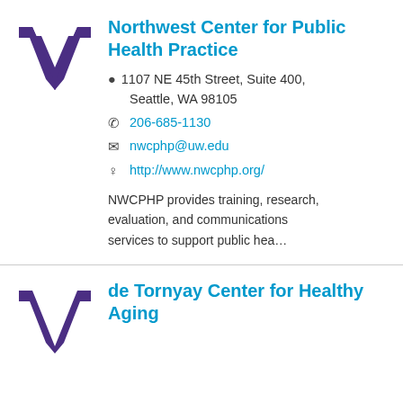[Figure (logo): University of Washington W logo in purple]
Northwest Center for Public Health Practice
1107 NE 45th Street, Suite 400, Seattle, WA 98105
206-685-1130
nwcphp@uw.edu
http://www.nwcphp.org/
NWCPHP provides training, research, evaluation, and communications services to support public hea...
[Figure (logo): University of Washington W logo in purple]
de Tornyay Center for Healthy Aging